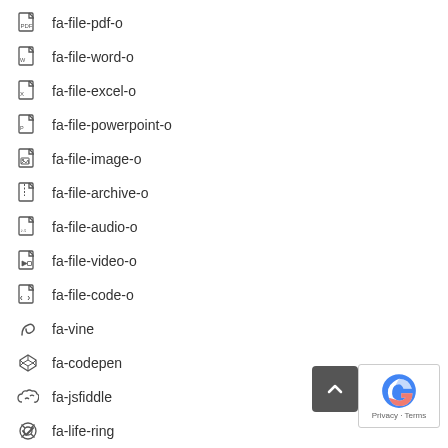fa-file-pdf-o
fa-file-word-o
fa-file-excel-o
fa-file-powerpoint-o
fa-file-image-o
fa-file-archive-o
fa-file-audio-o
fa-file-video-o
fa-file-code-o
fa-vine
fa-codepen
fa-jsfiddle
fa-life-ring
fa-circle-o-notch
fa-rebel